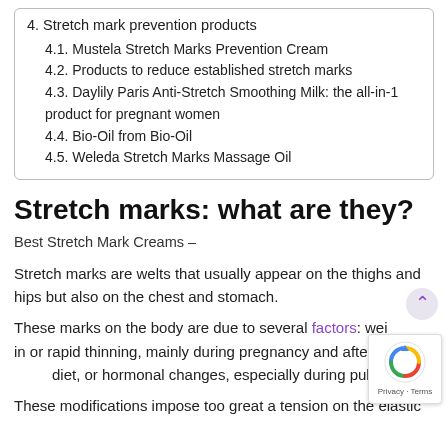4. Stretch mark prevention products
4.1. Mustela Stretch Marks Prevention Cream
4.2. Products to reduce established stretch marks
4.3. Daylily Paris Anti-Stretch Smoothing Milk: the all-in-1 product for pregnant women
4.4. Bio-Oil from Bio-Oil
4.5. Weleda Stretch Marks Massage Oil
Stretch marks: what are they?
Best Stretch Mark Creams –
Stretch marks are welts that usually appear on the thighs and hips but also on the chest and stomach.
These marks on the body are due to several factors: weight gain or rapid thinning, mainly during pregnancy and after an extreme diet, or hormonal changes, especially during puberty.
These modifications impose too great a tension on the elastic